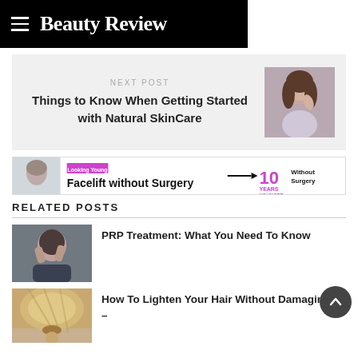Beauty Review
NEXT POST
Things to Know When Getting Started with Natural SkinCare
[Figure (photo): Portrait of a woman touching her face/neck]
[Figure (infographic): Advertisement banner: Facelift without Surgery 10 Years Younger]
RELATED POSTS
[Figure (photo): Person scratching or touching their scalp/hair]
PRP Treatment: What You Need To Know
[Figure (photo): Close-up of blonde hair in a ponytail]
How To Lighten Your Hair Without Damaging It –